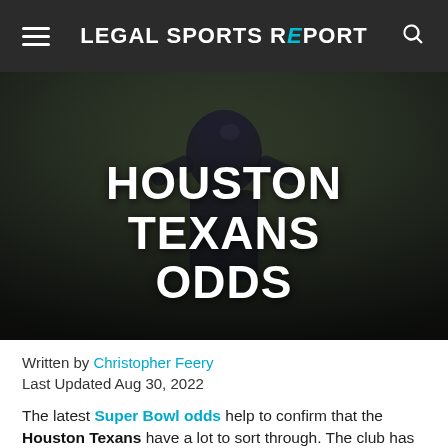LEGAL SPORTS REPORT
[Figure (photo): Houston Texans quarterback in blue uniform with helmet, arms raised holding football, dark blurred background. Overlaid with large white text 'HOUSTON TEXANS ODDS']
HOUSTON TEXANS ODDS
Written by Christopher Feery
Last Updated Aug 30, 2022
The latest Super Bowl odds help to confirm that the Houston Texans have a lot to sort through. The club has opened the Lovie Smith era with an undefeated